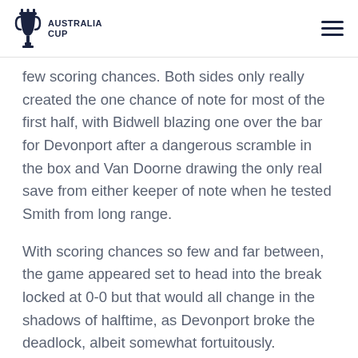AUSTRALIA CUP
few scoring chances. Both sides only really created the one chance of note for most of the first half, with Bidwell blazing one over the bar for Devonport after a dangerous scramble in the box and Van Doorne drawing the only real save from either keeper of note when he tested Smith from long range.
With scoring chances so few and far between, the game appeared set to head into the break locked at 0-0 but that would all change in the shadows of halftime, as Devonport broke the deadlock, albeit somewhat fortuitously.